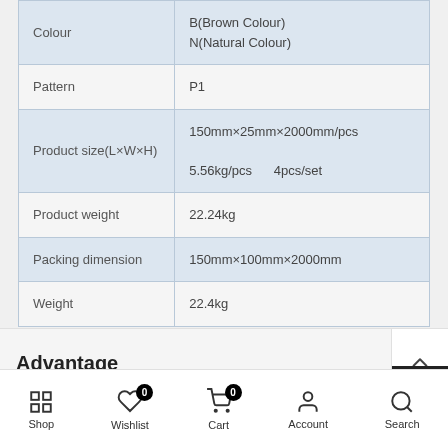| Property | Value |
| --- | --- |
| Colour | B(Brown Colour)
N(Natural Colour) |
| Pattern | P1 |
| Product size(L×W×H) | 150mm×25mm×2000mm/pcs
5.56kg/pcs    4pcs/set |
| Product weight | 22.24kg |
| Packing dimension | 150mm×100mm×2000mm |
| Weight | 22.4kg |
Advantage
Shop  Wishlist  Cart  Account  Search